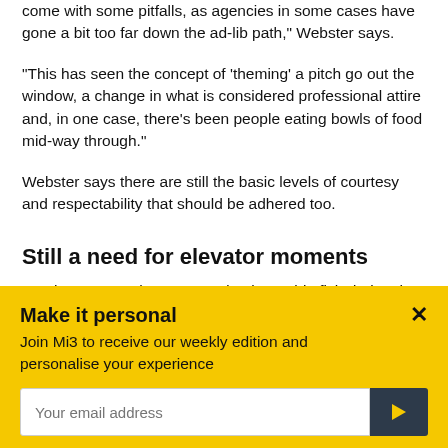come with some pitfalls, as agencies in some cases have gone a bit too far down the ad-lib path," Webster says.
"This has seen the concept of 'theming' a pitch go out the window, a change in what is considered professional attire and, in one case, there's been people eating bowls of food mid-way through."
Webster says there are still the basic levels of courtesy and respectability that should be adhered too.
Still a need for elevator moments
Another agency that managed to bag a big fish during the
Make it personal
Join Mi3 to receive our weekly edition and personalise your experience
Your email address